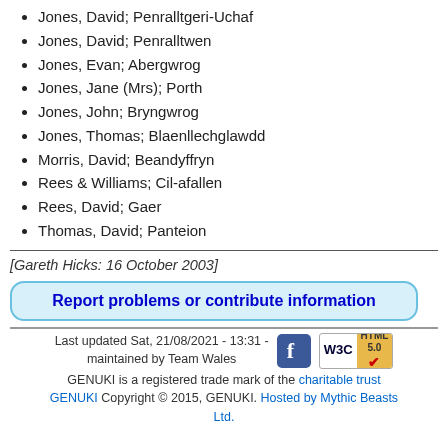Jones, David; Penralltgeri-Uchaf
Jones, David; Penralltwen
Jones, Evan; Abergwrog
Jones, Jane (Mrs); Porth
Jones, John; Bryngwrog
Jones, Thomas; Blaenllechglawdd
Morris, David; Beandyffryn
Rees & Williams; Cil-afallen
Rees, David; Gaer
Thomas, David; Panteion
[Gareth Hicks: 16 October 2003]
Report problems or contribute information
Last updated Sat, 21/08/2021 - 13:31 - maintained by Team Wales GENUKI is a registered trade mark of the charitable trust GENUKI Copyright © 2015, GENUKI. Hosted by Mythic Beasts Ltd.